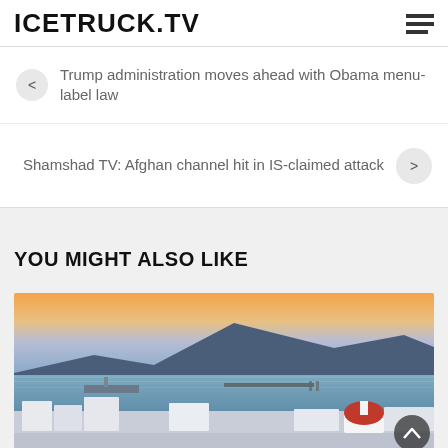ICETRUCK.TV
Trump administration moves ahead with Obama menu-label law
Shamshad TV: Afghan channel hit in IS-claimed attack
YOU MIGHT ALSO LIKE
[Figure (photo): Scenic sunset view of a Mediterranean coastal town (likely Mykonos) with a harbor, pier, boats, whitewashed buildings, and a red-domed church in the foreground, mountains in the background under a colorful sky.]